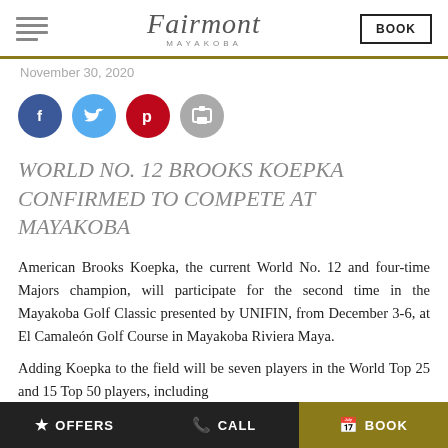Fairmont MAYAKOBA — BOOK
November 30, 2020
[Figure (other): Social sharing icons: Facebook, Twitter, Pinterest, Print]
WORLD NO. 12 BROOKS KOEPKA CONFIRMED TO COMPETE AT MAYAKOBA
American Brooks Koepka, the current World No. 12 and four-time Majors champion, will participate for the second time in the Mayakoba Golf Classic presented by UNIFIN, from December 3-6, at El Camaleón Golf Course in Mayakoba Riviera Maya.
Adding Koepka to the field will be seven players in the World Top 25 and 15 Top 50 players, including
OFFERS   CALL   BOOK